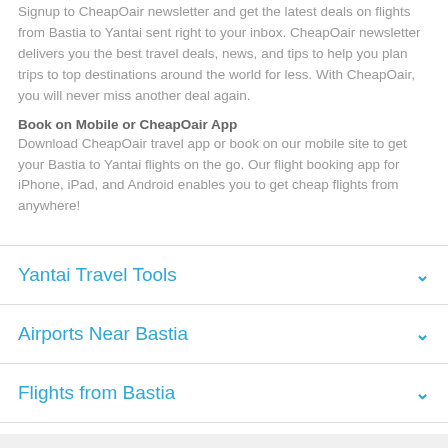Signup to CheapOair newsletter and get the latest deals on flights from Bastia to Yantai sent right to your inbox. CheapOair newsletter delivers you the best travel deals, news, and tips to help you plan trips to top destinations around the world for less. With CheapOair, you will never miss another deal again.
Book on Mobile or CheapOair App
Download CheapOair travel app or book on our mobile site to get your Bastia to Yantai flights on the go. Our flight booking app for iPhone, iPad, and Android enables you to get cheap flights from anywhere!
Yantai Travel Tools
Airports Near Bastia
Flights from Bastia
Flights to Yantai